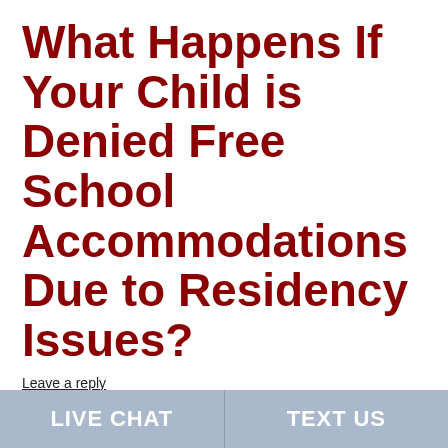What Happens If Your Child is Denied Free School Accommodations Due to Residency Issues?
Leave a reply
Under Connecticut law, school districts must provide free school accommodations, including transportation, to every child from age three to twenty-one (who has not yet graduated from high
LIVE CHAT   TEXT US